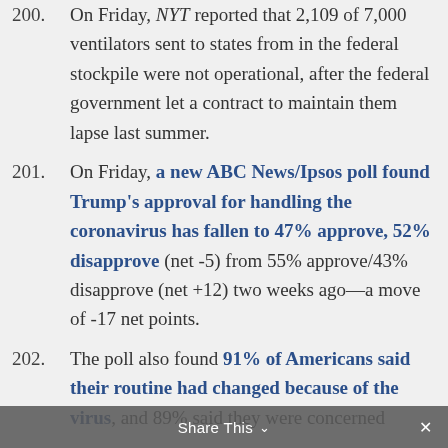200. On Friday, NYT reported that 2,109 of 7,000 ventilators sent to states from in the federal stockpile were not operational, after the federal government let a contract to maintain them lapse last summer.
201. On Friday, a new ABC News/Ipsos poll found Trump's approval for handling the coronavirus has fallen to 47% approve, 52% disapprove (net -5) from 55% approve/43% disapprove (net +12) two weeks ago—a move of -17 net points.
202. The poll also found 91% of Americans said their routine had changed because of the virus, and 89% said they were concerned
Share This